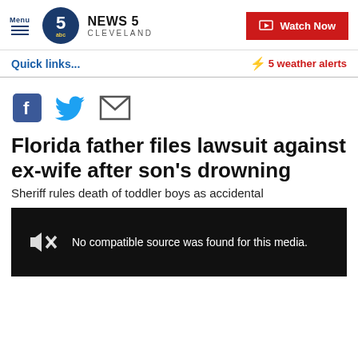NEWS 5 CLEVELAND | Menu | Watch Now
Quick links...
⚡ 5 weather alerts
[Figure (other): Social sharing icons: Facebook, Twitter, Email]
Florida father files lawsuit against ex-wife after son's drowning
Sheriff rules death of toddler boys as accidental
[Figure (other): Video player showing: No compatible source was found for this media.]